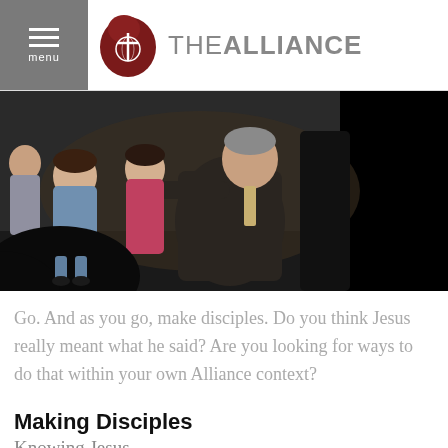menu  THE ALLIANCE
[Figure (photo): A man in a dark suit crouching down to speak with a group of young children in an indoor setting. Several girls are visible, one wearing a pink top, another in a denim jacket.]
Go. And as you go, make disciples. Do you think Jesus really meant what he said? Are you looking for ways to do that within your own Alliance context?
Making Disciples
Knowing Jesus